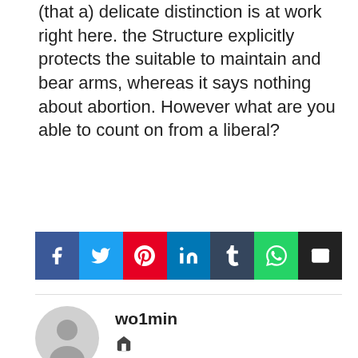(that a) delicate distinction is at work right here. the Structure explicitly protects the suitable to maintain and bear arms, whereas it says nothing about abortion. However what are you able to count on from a liberal?
[Figure (infographic): Social media share buttons: Facebook (blue), Twitter (light blue), Pinterest (red), LinkedIn (dark blue), Tumblr (dark navy), WhatsApp (green), Email (black)]
wo1min
[Figure (illustration): Home icon link next to author name]